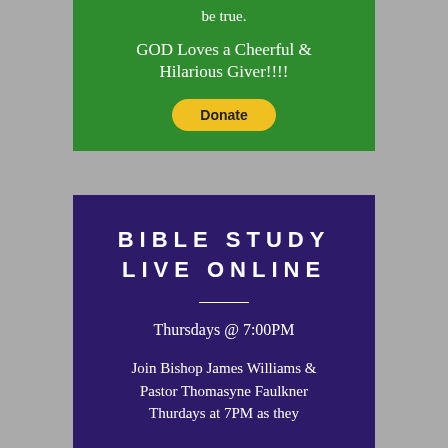be true.
GOD Loves a Cheerful & Hilarious Giver!!!!
Donate
BIBLE STUDY LIVE ONLINE
Thursdays @ 7:00PM
Join Bishop James Williams & Pastor Thomasyne Faulkner Thurdays at 7PM as they